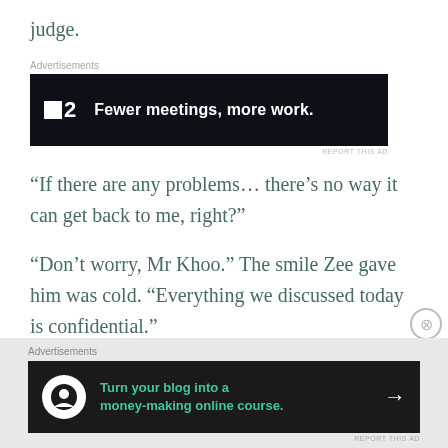judge.
[Figure (infographic): Advertisement banner: P2 logo with text 'Fewer meetings, more work.' on dark background]
“If there are any problems… there’s no way it can get back to me, right?”
“Don’t worry, Mr Khoo.” The smile Zee gave him was cold. “Everything we discussed today is confidential.”
[Figure (infographic): Advertisement banner: Turn your blog into a money-making online course. with arrow on dark background]